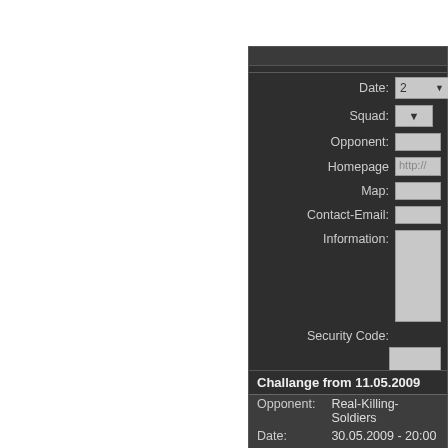[Figure (screenshot): Web form panel with dark background. Fields: Date (dropdowns: 2, Sep), Squad (dropdown), Opponent (text input), Homepage (http:// placeholder), Map, Contact-Email, Information (textarea), Security Code (input), and a 'challenge' button.]
| Field | Value |
| --- | --- |
| Challange from 11.05.2009 |  |
| Opponent: | Real-Killing-Soldiers |
| Date: | 30.05.2009 - 20:00 |
| Squad: |  |
| League: | funny |
| Map: | Cliffside |